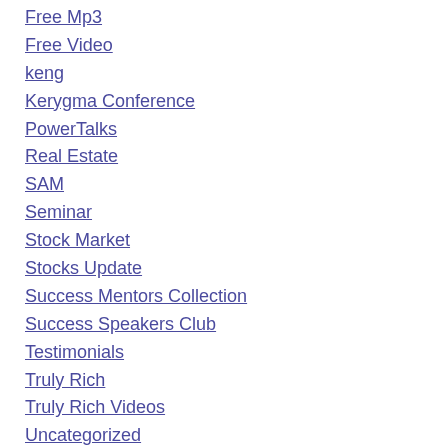Free Mp3
Free Video
keng
Kerygma Conference
PowerTalks
Real Estate
SAM
Seminar
Stock Market
Stocks Update
Success Mentors Collection
Success Speakers Club
Testimonials
Truly Rich
Truly Rich Videos
Uncategorized
Wealth Summit